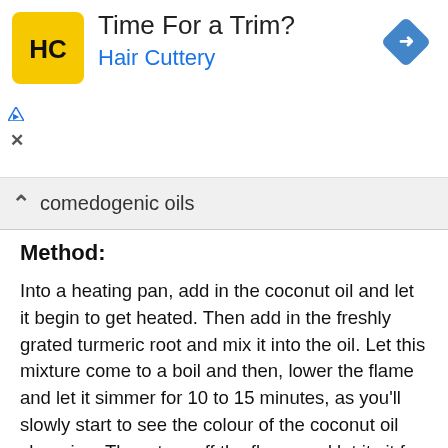[Figure (infographic): Hair Cuttery advertisement banner with yellow logo showing HC letters, text 'Time For a Trim?' and 'Hair Cuttery' in blue, with a blue diamond navigation icon on the right]
comedogenic oils
Method:
Into a heating pan, add in the coconut oil and let it begin to get heated. Then add in the freshly grated turmeric root and mix it into the oil. Let this mixture come to a boil and then, lower the flame and let it simmer for 10 to 15 minutes, as you'll slowly start to see the colour of the coconut oil changing. Then, turn off the flame and let it sit for 5 minutes before you can strain this mixture into a container. The turmeric oil is now ready. Store this in a cool and dry place.